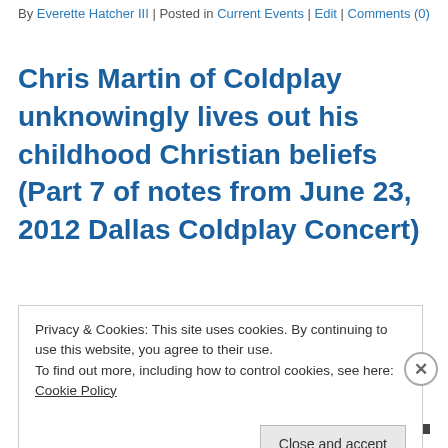By Everette Hatcher III | Posted in Current Events | Edit | Comments (0)
Chris Martin of Coldplay unknowingly lives out his childhood Christian beliefs (Part 7 of notes from June 23, 2012 Dallas Coldplay Concert)
July 3, 2012 – 10:58 am
Coldplay Live in Dallas – Lover's in Japan Ball Drop
Privacy & Cookies: This site uses cookies. By continuing to use this website, you agree to their use.
To find out more, including how to control cookies, see here: Cookie Policy
Close and accept